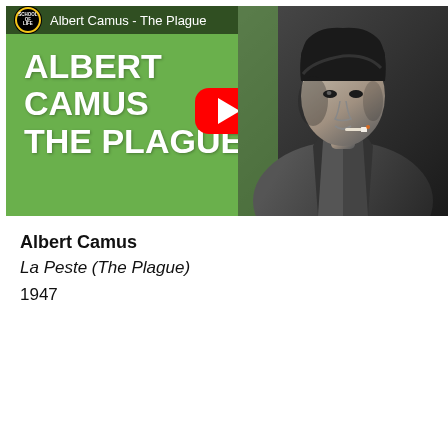[Figure (screenshot): YouTube video thumbnail for 'Albert Camus - The Plague' by The School of Life. Green background with black-and-white photo of Albert Camus smoking a cigarette. Large white bold text reads 'ALBERT CAMUS THE PLAGUE'. Red YouTube play button in center. Top bar shows School of Life logo and video title.]
Albert Camus
La Peste (The Plague)
1947